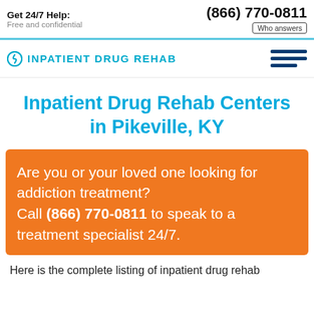Get 24/7 Help: Free and confidential | (866) 770-0811 | Who answers
[Figure (logo): Inpatient Drug Rehab logo with teal icon and hamburger menu]
Inpatient Drug Rehab Centers in Pikeville, KY
Are you or your loved one looking for addiction treatment? Call (866) 770-0811 to speak to a treatment specialist 24/7.
Here is the complete listing of inpatient drug rehab